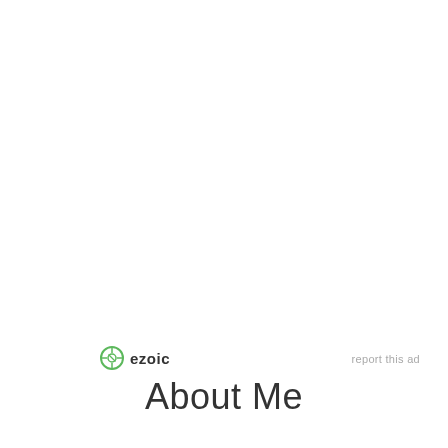[Figure (logo): Ezoic logo with green compass/circle icon and bold text 'ezoic']
report this ad
About Me